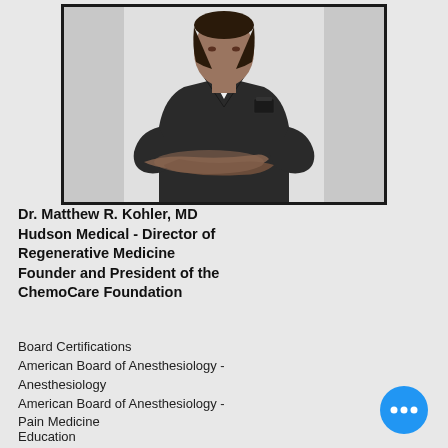[Figure (photo): Photo of Dr. Matthew R. Kohler in dark scrubs with arms crossed, upper torso visible, white background behind subject, framed with black border]
Dr. Matthew R. Kohler, MD
Hudson Medical - Director of Regenerative Medicine
Founder and President of the ChemoCare Foundation
Board Certifications
American Board of Anesthesiology - Anesthesiology
American Board of Anesthesiology - Pain Medicine
Education